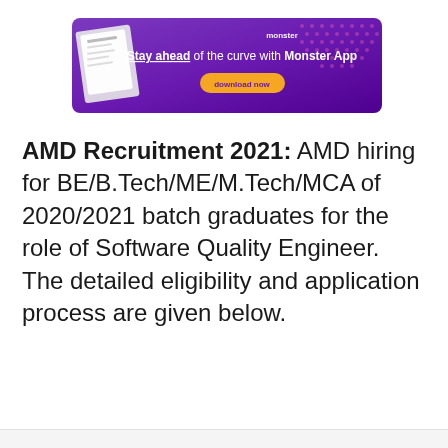[Figure (other): Monster App advertisement banner with purple background showing 'Stay ahead of the curve with Monster App' text and a download now button]
AMD Recruitment 2021: AMD hiring for BE/B.Tech/ME/M.Tech/MCA of 2020/2021 batch graduates for the role of Software Quality Engineer. The detailed eligibility and application process are given below.